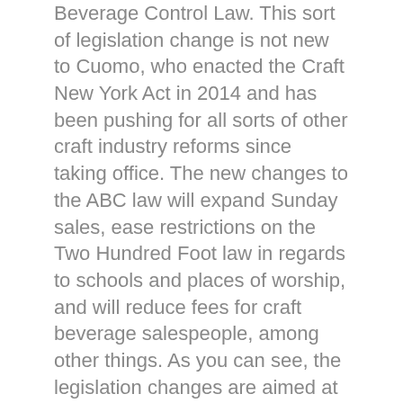Beverage Control Law. This sort of legislation change is not new to Cuomo, who enacted the Craft New York Act in 2014 and has been pushing for all sorts of other craft industry reforms since taking office. The new changes to the ABC law will expand Sunday sales, ease restrictions on the Two Hundred Foot law in regards to schools and places of worship, and will reduce fees for craft beverage salespeople, among other things. As you can see, the legislation changes are aimed at nurturing growth in the craft industry by cutting down the hassle of bureaucracy. “New York’s investments in the craft beverage industry have driven growth, created hundreds of jobs and unleashed a new optimism and energy amongst wineries, breweries, distilleries and cideries across the state,” said Governor Cuomo. “This new legislation will build on that progress by modernizing the state’s Blue Laws, cutting through the red tape and removing artificial